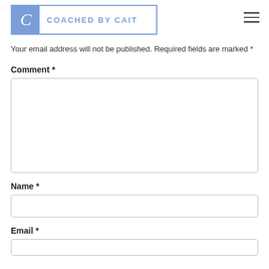COACHED BY CAIT
Your email address will not be published. Required fields are marked *
Comment *
Name *
Email *